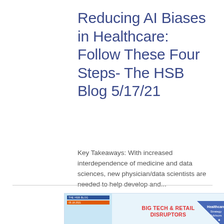Reducing AI Biases in Healthcare: Follow These Four Steps- The HSB Blog 5/17/21
Key Takeaways: With increased interdependence of medicine and data sciences, new physician/data scientists are needed to help develop and...
[Figure (other): Thumbnail image for a blog post titled 'BIG TECH & RETAIL DISRUPTORS' from The HSB Blog, with a blue/cyan background and red bold text.]